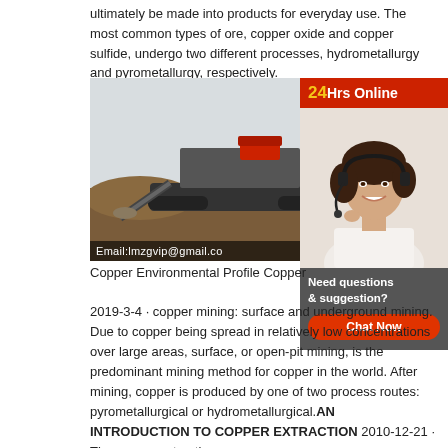ultimately be made into products for everyday use. The most common types of ore, copper oxide and copper sulfide, undergo two different processes, hydrometallurgy and pyrometallurgy, respectively.
[Figure (photo): Mining equipment / crusher machine on a worksite with dirt piles, with an email overlay reading 'Email:lmzgvip@gmail.co']
[Figure (photo): 24Hrs Online banner in red with a woman wearing a headset (customer support representative)]
Copper Environmental Profile Copper
Need questions & suggestion?
Chat Now
2019-3-4 · copper mining: surface and underground mining. Due to copper being spread in relatively low concentrations over large areas, surface, or open-pit mining, is the predominant mining method for copper in the world. After mining, copper is produced by one of two process routes: pyrometallurgical or hydrometallurgical.AN INTRODUCTION TO COPPER EXTRACTION 2010-12-21 · The copper extraction